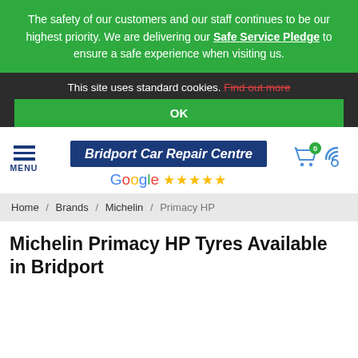The safety of our customers and our staff continues to be our highest priority. We are delivering our Safe Service Pledge to ensure a safe experience when visiting us.
This site uses standard cookies. Find out more
OK
[Figure (logo): Bridport Car Repair Centre logo on dark blue background with Google 5-star rating below]
MENU
Home / Brands / Michelin / Primacy HP
Michelin Primacy HP Tyres Available in Bridport